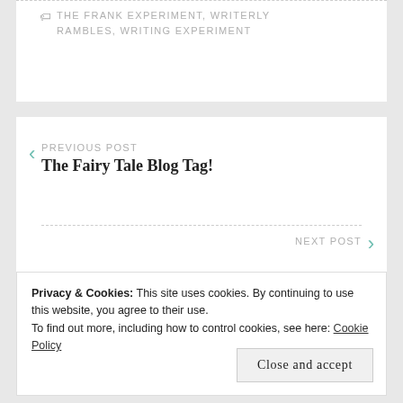THE FRANK EXPERIMENT, WRITERLY RAMBLES, WRITING EXPERIMENT
< PREVIOUS POST
The Fairy Tale Blog Tag!
NEXT POST >
Privacy & Cookies: This site uses cookies. By continuing to use this website, you agree to their use.
To find out more, including how to control cookies, see here: Cookie Policy
Close and accept